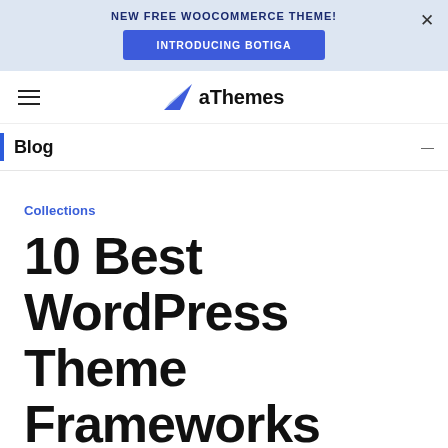NEW FREE WOOCOMMERCE THEME! INTRODUCING BOTIGA
[Figure (logo): aThemes logo with blue paper plane triangle icon]
Blog
Collections
10 Best WordPress Theme Frameworks 2022